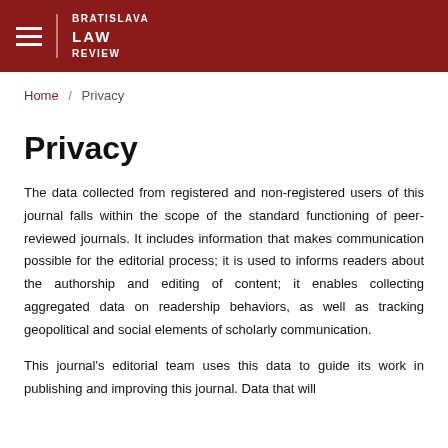BRATISLAVA LAW REVIEW
Home / Privacy
Privacy
The data collected from registered and non-registered users of this journal falls within the scope of the standard functioning of peer-reviewed journals. It includes information that makes communication possible for the editorial process; it is used to informs readers about the authorship and editing of content; it enables collecting aggregated data on readership behaviors, as well as tracking geopolitical and social elements of scholarly communication.
This journal's editorial team uses this data to guide its work in publishing and improving this journal. Data that will